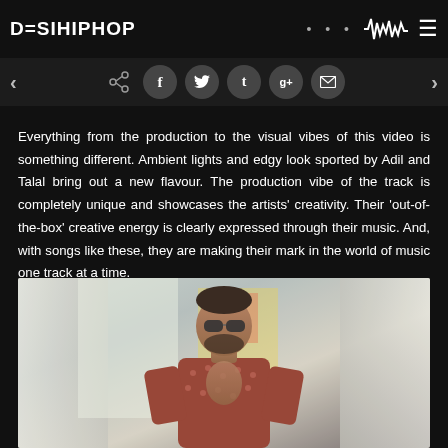DESIHIPHOP
Everything from the production to the visual vibes of this video is something different. Ambient lights and edgy look sported by Adil and Talal bring out a new flavour. The production vibe of the track is completely unique and showcases the artists' creativity. Their 'out-of-the-box' creative energy is clearly expressed through their music. And, with songs like these, they are making their mark in the world of music one track at a time.
[Figure (photo): Photo of a young man with sunglasses and beard wearing an open patterned shirt, standing near curtains in a bright room]